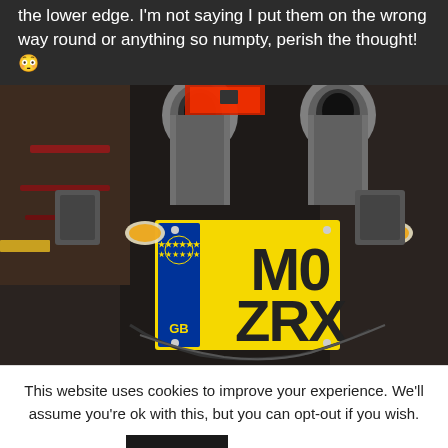the lower edge. I'm not saying I put them on the wrong way round or anything so numpty, perish the thought! 😳
[Figure (photo): Rear view of a motorcycle showing two exhaust pipes, turn signals, rear fender components, and a yellow UK number plate reading 'M0 ZRX' with a blue EU strip on the left showing 'GB'.]
This website uses cookies to improve your experience. We'll assume you're ok with this, but you can opt-out if you wish.
Accept   Read More